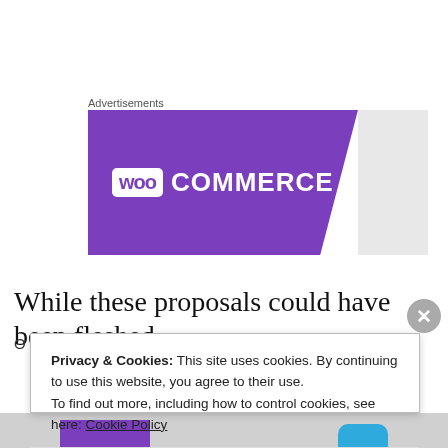Advertisements
[Figure (logo): WooCommerce advertisement banner with purple background and white logo]
While these proposals could have been fleshed
...
Privacy & Cookies: This site uses cookies. By continuing to use this website, you agree to their use. To find out more, including how to control cookies, see here: Cookie Policy
Close and accept